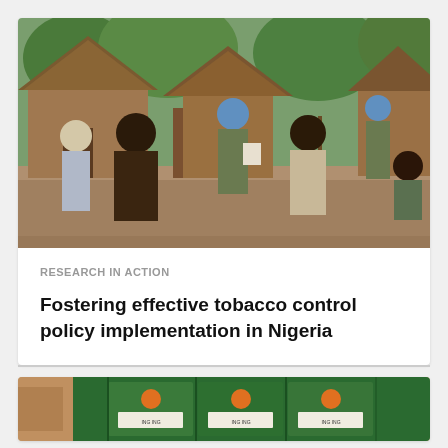[Figure (photo): Outdoor scene in a rural African village. A soldier wearing blue UN beret and camouflage uniform reads from a paper/clipboard to a group of local civilians. Thatched-roof huts visible in background surrounded by green vegetation. Several people standing and sitting listening.]
RESEARCH IN ACTION
Fostering effective tobacco control policy implementation in Nigeria
[Figure (photo): Close-up photo showing green cigarette/tobacco product boxes or cartons stacked together, with orange circular markings visible on the packaging.]